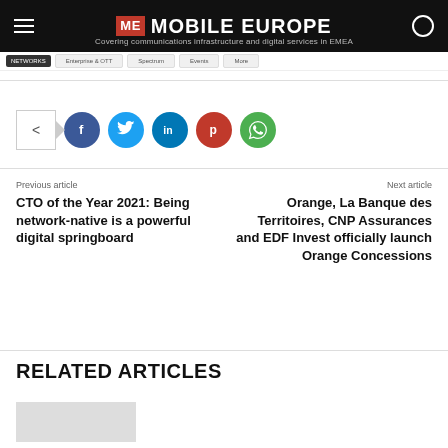ME MOBILE EUROPE — Covering communications infrastructure and digital services in EMEA
[Figure (infographic): Social sharing buttons: share icon, Facebook, Twitter, LinkedIn, Pinterest, WhatsApp]
Previous article
CTO of the Year 2021: Being network-native is a powerful digital springboard
Next article
Orange, La Banque des Territoires, CNP Assurances and EDF Invest officially launch Orange Concessions
RELATED ARTICLES